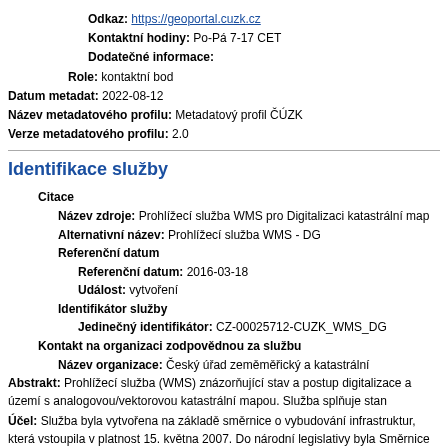Odkaz: https://geoportal.cuzk.cz
Kontaktní hodiny: Po-Pá 7-17 CET
Dodatečné informace:
Role: kontaktní bod
Datum metadat: 2022-08-12
Název metadatového profilu: Metadatový profil ČÚZK
Verze metadatového profilu: 2.0
Identifikace služby
Citace
Název zdroje: Prohlížecí služba WMS pro Digitalizaci katastrální map
Alternativní název: Prohlížecí služba WMS - DG
Referenční datum
Referenční datum: 2016-03-18
Událost: vytvoření
Identifikátor služby
Jedinečný identifikátor: CZ-00025712-CUZK_WMS_DG
Kontakt na organizaci zodpovědnou za službu
Název organizace: Český úřad zeměměřický a katastrální
Abstrakt: Prohlížecí služba (WMS) znázorňující stav a postup digitalizace a území s analogovou/vektorovou katastrální mapou. Služba splňuje standarty.
Účel: Služba byla vytvořena na základě směrnice o vybudování infrastruktur, která vstoupila v platnost 15. května 2007. Do národní legislativy byla Smd zapracována 380/2009 Sb., kterým se měnily zákon č. 123/1998 Sb., o právu na inform